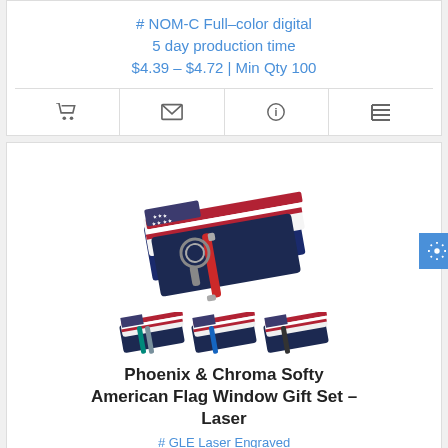# NOM-C Full-color digital
5 day production time
$4.39 – $4.72 | Min Qty 100
[Figure (other): Four icon buttons: shopping cart, envelope, info, list]
[Figure (photo): Phoenix & Chroma Softy American Flag Window Gift Set product photos — main image showing open gift box with red pen and keychain on American flag-patterned backdrop, plus three smaller thumbnail images of similar sets in different colors]
Phoenix & Chroma Softy American Flag Window Gift Set – Laser
# GLE Laser Engraved